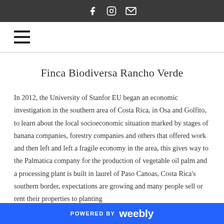[Social icons: Facebook, Instagram, Email]
[Figure (other): Hamburger menu icon (three horizontal lines)]
Finca Biodiversa Rancho Verde
In 2012, the University of Stanfor EU began an economic investigation in the southern area of Costa Rica, in Osa and Golfito, to learn about the local socioeconomic situation marked by stages of banana companies, forestry companies and others that offered work and then left and left a fragile economy in the area, this gives way to the Palmatica company for the production of vegetable oil palm and a processing plant is built in laurel of Paso Canoas, Costa Rica's southern border, expectations are growing and many people sell or rent their properties to planting
POWERED BY weebly